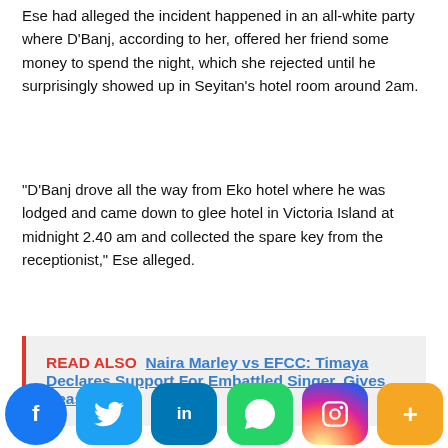Ese had alleged the incident happened in an all-white party where D'Banj, according to her, offered her friend some money to spend the night, which she rejected until he surprisingly showed up in Seyitan's hotel room around 2am.
“D’Banj drove all the way from Eko hotel where he was lodged and came down to glee hotel in Victoria Island at midnight 2.40 am and collected the spare key from the receptionist,” Ese alleged.
READ ALSO  Naira Marley vs EFCC: Timaya Declares Support For Embattled Singer, Gives Reasons
She further added D’Banj “got into my friend’s room and forcefully threatened he would walk her out of the room